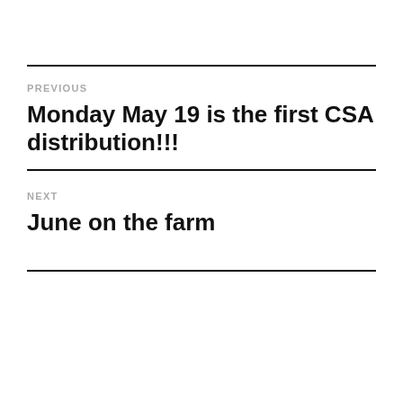PREVIOUS
Monday May 19 is the first CSA distribution!!!
NEXT
June on the farm